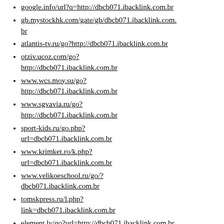google.info/url?q=http://dbcb071.ibacklink.com.br
gb.mystockhk.com/gate/gb/dbcb071.ibacklink.com.br
atlantis-tv.ru/go?http://dbcb071.ibacklink.com.br
otziv.ucoz.com/go?http://dbcb071.ibacklink.com.br
www.wcs.moy.su/go?http://dbcb071.ibacklink.com.br
www.sgvavia.ru/go?http://dbcb071.ibacklink.com.br
sport-kids.ru/go.php?url=dbcb071.ibacklink.com.br
www.krimket.ro/k.php?url=dbcb071.ibacklink.com.br
www.velikoeschool.ru/go/?dbcb071.ibacklink.com.br
tomskpress.ru/l.php?link=dbcb071.ibacklink.com.br
element.lv/go?url=http://dbcb071.ibacklink.com.br